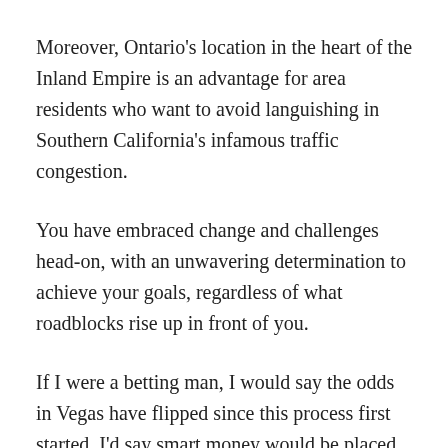Moreover, Ontario's location in the heart of the Inland Empire is an advantage for area residents who want to avoid languishing in Southern California's infamous traffic congestion.
You have embraced change and challenges head-on, with an unwavering determination to achieve your goals, regardless of what roadblocks rise up in front of you.
If I were a betting man, I would say the odds in Vegas have flipped since this process first started. I'd say smart money would be placed on Ontario International Airport to succeed.
I won't be surprised if, in a decade or two, we look back at this very occasion as a seminal moment in the history of this